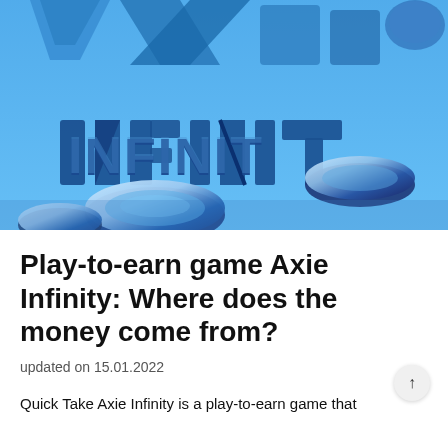[Figure (photo): Hero image showing a blue 3D rendered scene with the Axie Infinity logo text 'INFINIT' partially visible, with metallic ring/coin shapes floating in a blue environment.]
Play-to-earn game Axie Infinity: Where does the money come from?
updated on 15.01.2022
Quick Take Axie Infinity is a play-to-earn game that